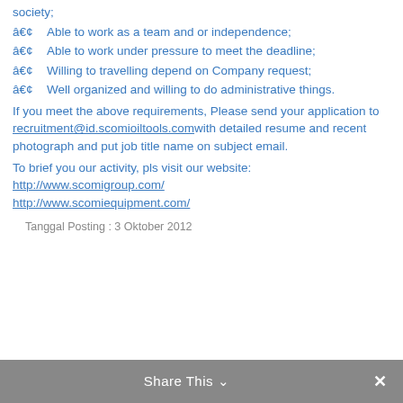society;
â€¢    Able to work as a team and or independence;
â€¢    Able to work under pressure to meet the deadline;
â€¢    Willing to travelling depend on Company request;
â€¢    Well organized and willing to do administrative things.
If you meet the above requirements, Please send your application to recruitment@id.scomioiltools.comwith detailed resume and recent photograph and put job title name on subject email.
To brief you our activity, pls visit our website:
http://www.scomigroup.com/
http://www.scomiequipment.com/
Tanggal Posting : 3 Oktober 2012
Share This ∨ ✕